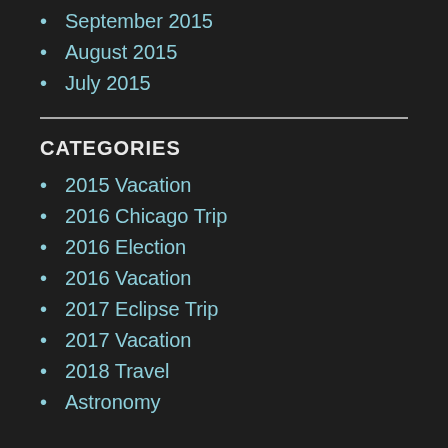September 2015
August 2015
July 2015
CATEGORIES
2015 Vacation
2016 Chicago Trip
2016 Election
2016 Vacation
2017 Eclipse Trip
2017 Vacation
2018 Travel
Astronomy